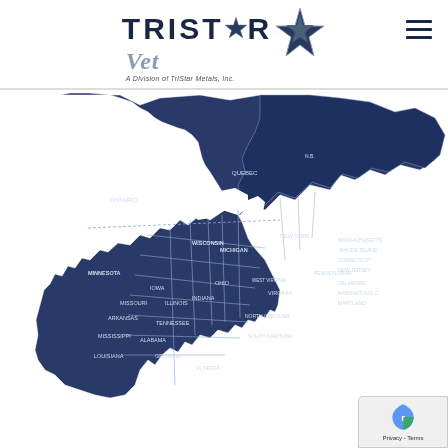[Figure (logo): TriStar Vet logo — TRISTAR text with a star graphic, 'Vet' in italic below, 'A Division of TriStar Metals, Inc.' tagline]
[Figure (map): Dark navy blue map of eastern North America showing US eastern states and Canadian provinces with white state/province boundary lines and white label text for regions including Ontario, Quebec, Michigan, Wisconsin, Pennsylvania, New York, New Jersey, Connecticut, Massachusetts, Rhode Island, Virginia, West Virginia, Maryland, Delaware, North Carolina, South Carolina, Georgia, Florida, Tennessee, Arkansas, Mississippi, Alabama, Louisiana, Missouri, Illinois, Indiana, Ohio, Minnesota, Wisconsin]
[Figure (other): reCAPTCHA privacy badge in bottom right corner]